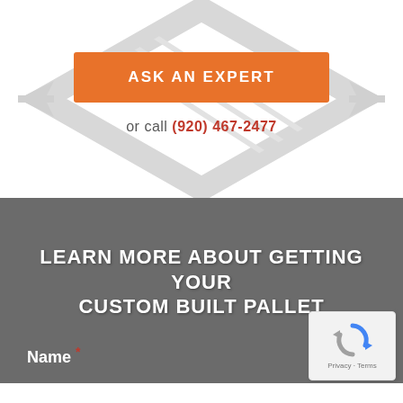[Figure (illustration): Light gray hexagonal/diamond arrow background graphic behind the Ask an Expert button]
ASK AN EXPERT
or call (920) 467-2477
LEARN MORE ABOUT GETTING YOUR CUSTOM BUILT PALLET
Name *
[Figure (other): reCAPTCHA widget showing Google reCAPTCHA icon with Privacy and Terms links]